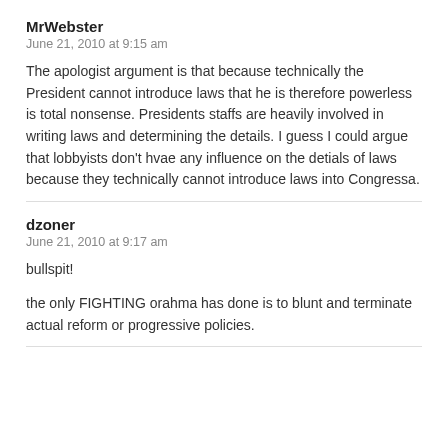MrWebster
June 21, 2010 at 9:15 am
The apologist argument is that because technically the President cannot introduce laws that he is therefore powerless is total nonsense. Presidents staffs are heavily involved in writing laws and determining the details. I guess I could argue that lobbyists don’t hvae any influence on the detials of laws because they technically cannot introduce laws into Congressa.
dzoner
June 21, 2010 at 9:17 am
bullspit!
the only FIGHTING orahma has done is to blunt and terminate actual reform or progressive policies.